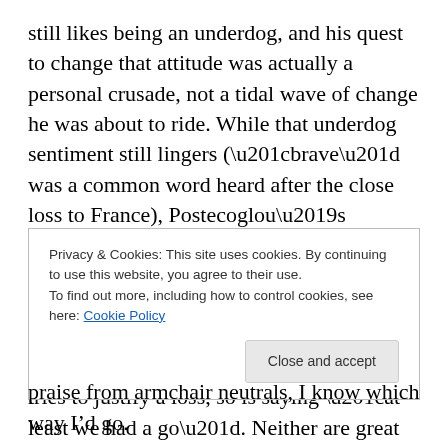still likes being an underdog, and his quest to change that attitude was actually a personal crusade, not a tidal wave of change he was about to ride. While that underdog sentiment still lingers (“brave” was a common word heard after the close loss to France), Postecoglou’s proposition to play aggressive, attacking football, to show the world Australia are not battlers, is very much another way to dodge accountability for poor results. As much as saying “we were underdogs” tries to justify a loss, so is saying “at least we had a go”. Neither are great mentalities, as the key measure of success at a World Cup is always results
Privacy & Cookies: This site uses cookies. By continuing to use this website, you agree to their use.
To find out more, including how to control cookies, see here: Cookie Policy
praise from armchair neutrals, I know which way I’d go.